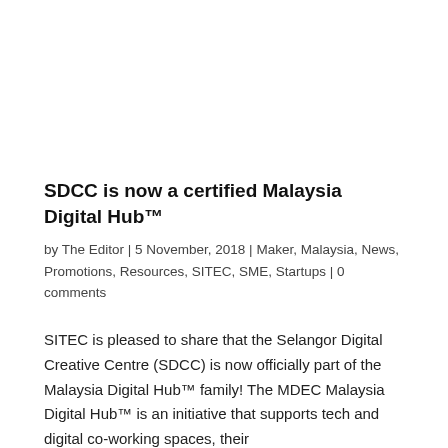SDCC is now a certified Malaysia Digital Hub™
by The Editor | 5 November, 2018 | Maker, Malaysia, News, Promotions, Resources, SITEC, SME, Startups | 0 comments
SITEC is pleased to share that the Selangor Digital Creative Centre (SDCC) is now officially part of the Malaysia Digital Hub™ family! The MDEC Malaysia Digital Hub™ is an initiative that supports tech and digital co-working spaces, their